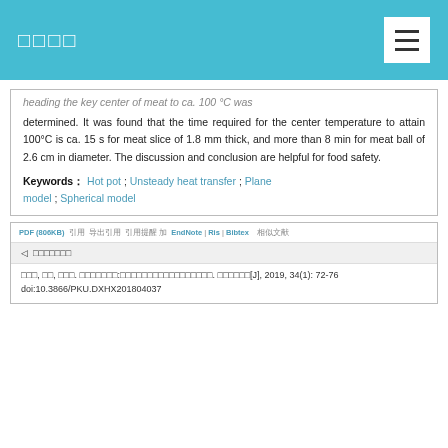□□□□
heading the key center of meat to ca. 100 °C was determined. It was found that the time required for the center temperature to attain 100°C is ca. 15 s for meat slice of 1.8 mm thick, and more than 8 min for meat ball of 2.6 cm in diameter. The discussion and conclusion are helpful for food safety.
Keywords： Hot pot ; Unsteady heat transfer ; Plane model ; Spherical model
PDF (806KB)  引用  导出引用  引用提醒 加  EndNote | Ris | Bibtex  相似文献
◁ □□□□□□□
□□□, □□, □□□. □□□□□□□:□□□□□□□□□□□□□□□□□. □□□□□□[J], 2019, 34(1): 72-76 doi:10.3866/PKU.DXHX201804037